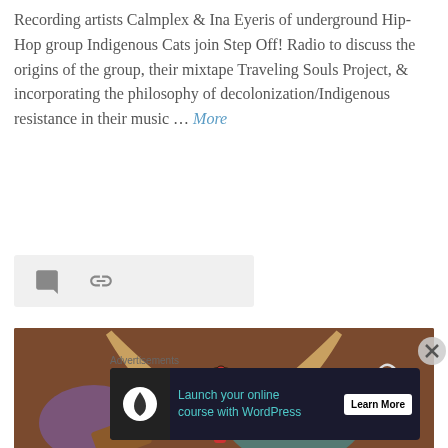Recording artists Calmplex & Ina Eyeris of underground Hip-Hop group Indigenous Cats join Step Off! Radio to discuss the origins of the group, their mixtape Traveling Souls Project, & incorporating the philosophy of decolonization/Indigenous resistance in their music … More
[Figure (other): Icon bar with speech bubble and link icons on grey background]
[Figure (illustration): Illustration of a stylized indigenous figure with antler-like branches, wearing a decorative mask/helmet, on a brown background with abstract colorful shapes]
Advertisements
[Figure (other): Advertisement banner: Launch your online course with WordPress - Learn More button, dark background with teal icon]